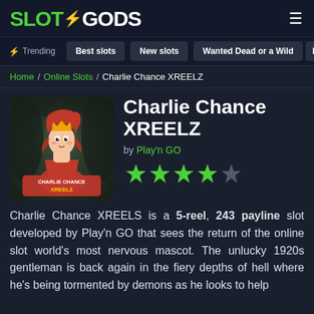SLOTGODS
Trending | Best slots | New slots | Wanted Dead or a Wild | M
Home / Online Slots / Charlie Chance XREELZ
Charlie Chance XREELZ
by Play'n GO
[Figure (other): Charlie Chance XREELZ slot game thumbnail showing a red-haired female character with a crown in a dark cave setting with the game logo]
[Figure (other): Star rating: 4 out of 5 green stars]
Charlie Chance XREELS is a 5-reel, 243 payline slot developed by Play'n GO that sees the return of the online slot world's most nervous mascot. The unlucky 1920s gentleman is back again in the fiery depths of hell where he's being tormented by demons as he looks to help